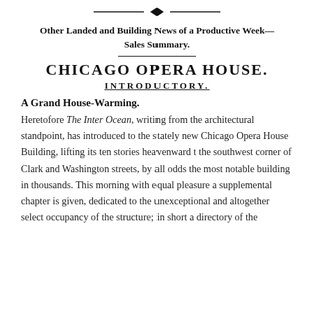[Figure (illustration): Decorative typographic ornament — a centered horizontal rule with a diamond/lozenge flourish in the middle]
Other Landed and Building News of a Productive Week—Sales Summary.
CHICAGO OPERA HOUSE.
INTRODUCTORY.
A Grand House-Warming.
Heretofore The Inter Ocean, writing from the architectural standpoint, has introduced to the stately new Chicago Opera House Building, lifting its ten stories heavenward t the southwest corner of Clark and Washington streets, by all odds the most notable building in thousands. This morning with equal pleasure a supplemental chapter is given, dedicated to the unexceptional and altogether select occupancy of the structure; in short a directory of the